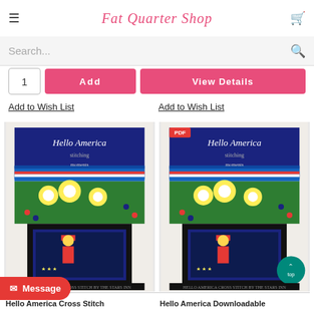Fat Quarter Shop
Search...
1  Add  View Details
Add to Wish List   Add to Wish List
[Figure (screenshot): Hello America Cross Stitch pattern product card showing patriotic cross-stitch design with Uncle Sam figure, daisies, and American flag colors]
[Figure (screenshot): Hello America Downloadable (PDF) cross stitch pattern product card showing same patriotic design with PDF badge]
Hello America Cross Stitch
Hello America Downloadable